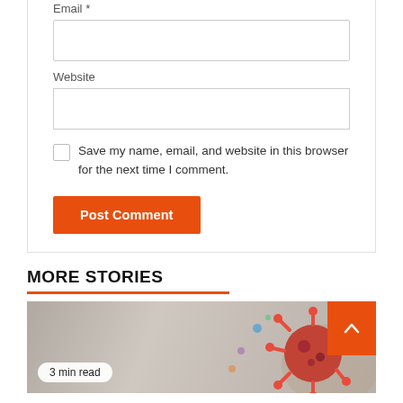Email *
Website
Save my name, email, and website in this browser for the next time I comment.
Post Comment
MORE STORIES
3 min read
[Figure (photo): Virus/coronavirus microscopic illustration in red and purple colors on a blurred background, with a scroll-to-top orange button overlay.]